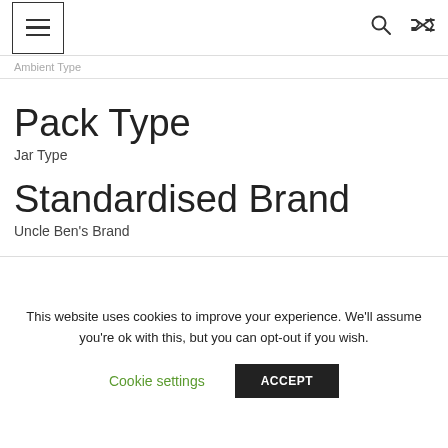≡ [menu icon] [search icon] [shuffle icon]
Ambient Type
Pack Type
Jar Type
Standardised Brand
Uncle Ben's Brand
Unit (specific)
This website uses cookies to improve your experience. We'll assume you're ok with this, but you can opt-out if you wish.
Cookie settings   ACCEPT